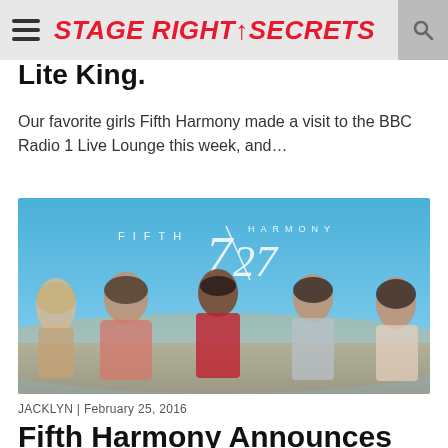STAGE RIGHT SECRETS
Lite King.
Our favorite girls Fifth Harmony made a visit to the BBC Radio 1 Live Lounge this week, and...
[Figure (photo): Fifth Harmony 7/27 album promotional photo featuring five women posed outdoors with blue sky, with text reading FIFTH HARMONY 7/27]
JACKLYN | February 25, 2016
Fifth Harmony Announces